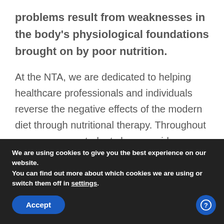problems result from weaknesses in the body's physiological foundations brought on by poor nutrition.
At the NTA, we are dedicated to helping healthcare professionals and individuals reverse the negative effects of the modern diet through nutritional therapy. Throughout our programs, students learn a wide range of educational tools
We are using cookies to give you the best experience on our website.
You can find out more about which cookies we are using or switch them off in settings.